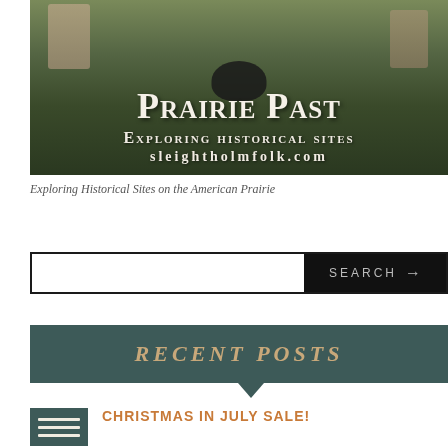[Figure (photo): Prairie Past blog banner image showing historical reenactors around a campfire, with text overlay: 'Prairie Past - Exploring Historical Sites - sleightholmfolk.com']
Exploring Historical Sites on the American Prairie
SEARCH →
RECENT POSTS
CHRISTMAS IN JULY SALE!